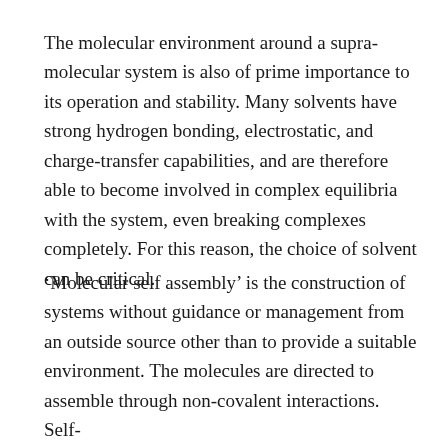The molecular environment around a supra-molecular system is also of prime importance to its operation and stability. Many solvents have strong hydrogen bonding, electrostatic, and charge-transfer capabilities, and are therefore able to become involved in complex equilibria with the system, even breaking complexes completely. For this reason, the choice of solvent can be critical.
'Molecular self assembly' is the construction of systems without guidance or management from an outside source other than to provide a suitable environment. The molecules are directed to assemble through non-covalent interactions. Self-